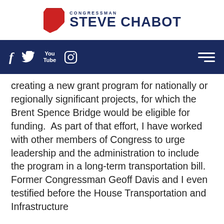CONGRESSMAN STEVE CHABOT
Social media nav bar with Facebook, Twitter, YouTube, Instagram icons and hamburger menu
creating a new grant program for nationally or regionally significant projects, for which the Brent Spence Bridge would be eligible for funding.  As part of that effort, I have worked with other members of Congress to urge leadership and the administration to include the program in a long-term transportation bill.  Former Congressman Geoff Davis and I even testified before the House Transportation and Infrastructure